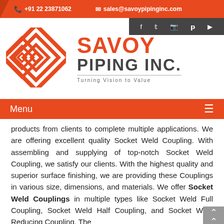+91 22 23871062  sales@savoypipinginc.com
[Figure (logo): Savoy Piping Inc. logo with orange diamond geometric graphic and company name text 'SAVOY PIPING INC.' with tagline 'Turning Vision to Value']
Menu
products from clients to complete multiple applications. We are offering excellent quality Socket Weld Coupling. With assembling and supplying of top-notch Socket Weld Coupling, we satisfy our clients. With the highest quality and superior surface finishing, we are providing these Couplings in various size, dimensions, and materials. We offer Socket Weld Couplings in multiple types like Socket Weld Full Coupling, Socket Weld Half Coupling, and Socket Weld Reducing Coupling. The